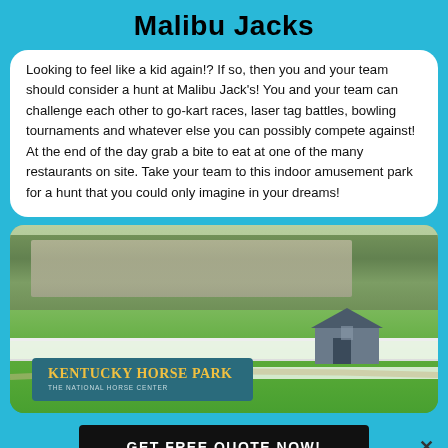Malibu Jacks
Looking to feel like a kid again!? If so, then you and your team should consider a hunt at Malibu Jack's! You and your team can challenge each other to go-kart races, laser tag battles, bowling tournaments and whatever else you can possibly compete against! At the end of the day grab a bite to eat at one of the many restaurants on site. Take your team to this indoor amusement park for a hunt that you could only imagine in your dreams!
[Figure (photo): Aerial/wide-angle photo of Kentucky Horse Park showing green fields, white fences, barns, and a teal sign reading Kentucky Horse Park – The National Horse Center]
GET FREE QUOTE NOW!